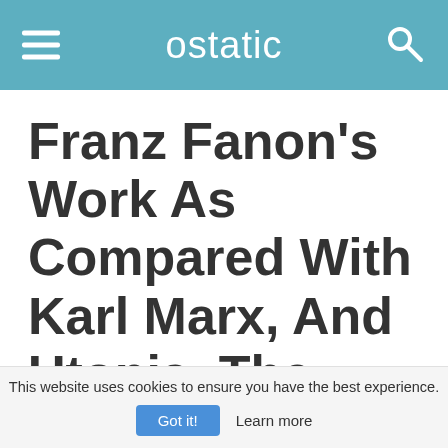ostatic
Franz Fanon's Work As Compared With Karl Marx, And Utopia. The Various Advantages And Disadantages Of Each Of The Societies
This website uses cookies to ensure you have the best experience.
Got it!  Learn more